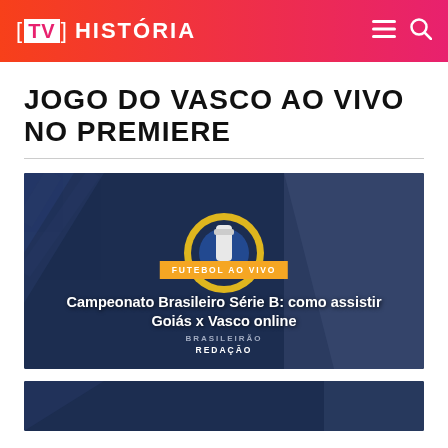[TV] HISTÓRIA
JOGO DO VASCO AO VIVO NO PREMIERE
[Figure (screenshot): Article card with dark navy background showing Campeonato Brasileiro Série B logo, orange tag reading 'FUTEBOL AO VIVO', title 'Campeonato Brasileiro Série B: como assistir Goiás x Vasco online', subtitle 'BRASILEIRÃO', author 'REDAÇÃO']
[Figure (screenshot): Partial second article card with dark navy background, cropped at bottom of page]